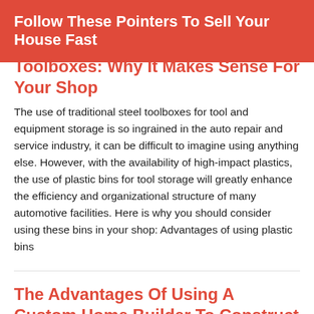Follow These Pointers To Sell Your House Fast
Toolboxes: Why It Makes Sense For Your Shop
The use of traditional steel toolboxes for tool and equipment storage is so ingrained in the auto repair and service industry, it can be difficult to imagine using anything else. However, with the availability of high-impact plastics, the use of plastic bins for tool storage will greatly enhance the efficiency and organizational structure of many automotive facilities. Here is why you should consider using these bins in your shop: Advantages of using plastic bins
The Advantages Of Using A Custom Home Builder To Construct Your House
When you have saved enough money to purchase a home that fits all of your needs, you have many options for customizing a